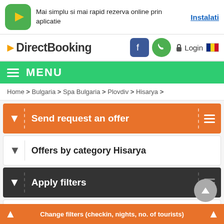[Figure (screenshot): DirectBooking website screenshot showing app banner, navigation, menu, breadcrumb, and filter accordion sections for Spa Hisarya Bulgaria booking page]
Mai simplu si mai rapid rezerva online prin aplicatie
Instalati
DirectBooking
Login
MENU
Home > Bulgaria > Spa Bulgaria > Plovdiv > Hisarya >
Send request an offer
Offers by category Hisarya
Apply filters
Spa Plovdiv
Spa – Hisarya, Bulgaria (51)
Change filters (checkin, nights, no. of tourists)